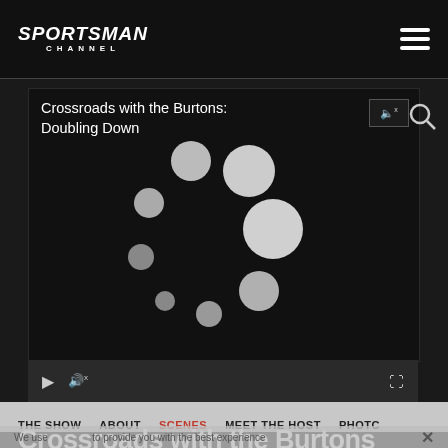[Figure (logo): Sportsman Channel logo — bold italic white text]
[Figure (screenshot): Video player showing 'Crossroads with the Burtons: Doubling Down' with loading spinner dots and mute icon]
THE SHOW   ABOUT   SCENES   MEET THE HOST   PHOTOS
We use ... to provide you with the best experience
Crossroads with the Burtons